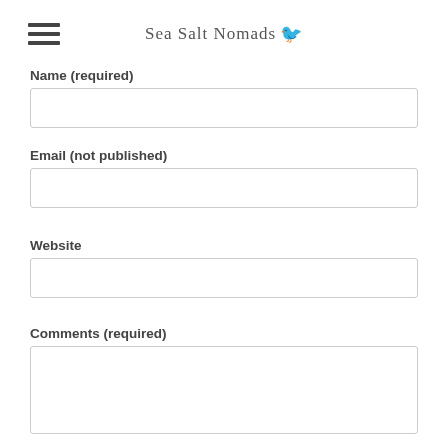Sea Salt Nomads
Name (required)
Email (not published)
Website
Comments (required)